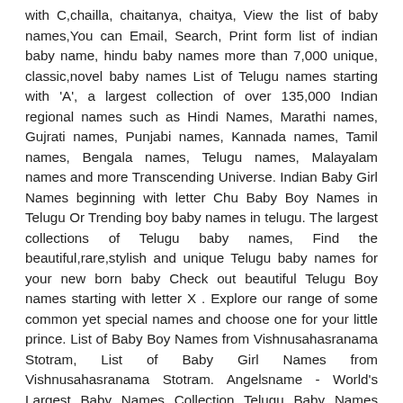with C,chailla, chaitanya, chaitya, View the list of baby names,You can Email, Search, Print form list of indian baby name, hindu baby names more than 7,000 unique, classic,novel baby names List of Telugu names starting with 'A', a largest collection of over 135,000 Indian regional names such as Hindi Names, Marathi names, Gujrati names, Punjabi names, Kannada names, Tamil names, Bengala names, Telugu names, Malayalam names and more Transcending Universe. Indian Baby Girl Names beginning with letter Chu Baby Boy Names in Telugu Or Trending boy baby names in telugu. The largest collections of Telugu baby names, Find the beautiful,rare,stylish and unique Telugu baby names for your new born baby Check out beautiful Telugu Boy names starting with letter X . Explore our range of some common yet special names and choose one for your little prince. List of Baby Boy Names from Vishnusahasranama Stotram, List of Baby Girl Names from Vishnusahasranama Stotram. Angelsname - World's Largest Baby Names Collection Telugu Baby Names Alphbetically with meaning , origin, & Numorology , Complete Telugu girls and boys names